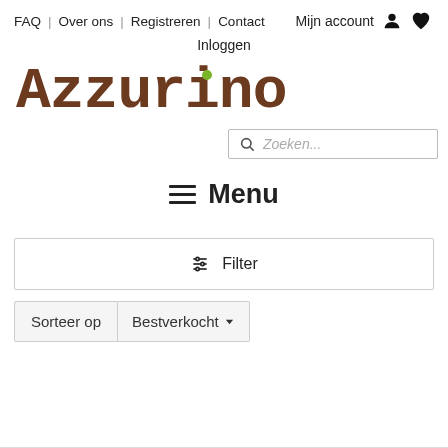FAQ | Over ons | Registreren | Contact | Mijn account
Inloggen
[Figure (logo): Azzurino logo in brown serif/typewriter font with a green dot above the letter i]
[Figure (screenshot): Search bar with placeholder text 'Zoeken...']
≡ Menu
Filter
Sorteer op  Bestverkocht▾